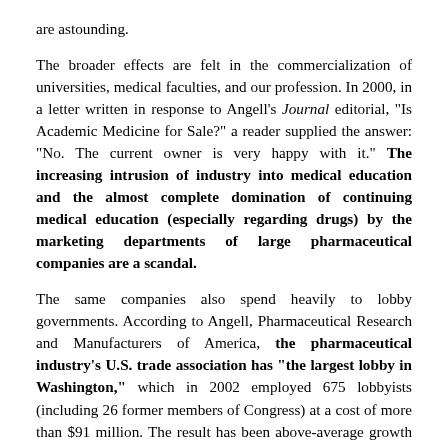are astounding.
The broader effects are felt in the commercialization of universities, medical faculties, and our profession. In 2000, in a letter written in response to Angell's Journal editorial, "Is Academic Medicine for Sale?" a reader supplied the answer: "No. The current owner is very happy with it." The increasing intrusion of industry into medical education and the almost complete domination of continuing medical education (especially regarding drugs) by the marketing departments of large pharmaceutical companies are a scandal.
The same companies also spend heavily to lobby governments. According to Angell, Pharmaceutical Research and Manufacturers of America, the pharmaceutical industry's U.S. trade association has "the largest lobby in Washington," which in 2002 employed 675 lobbyists (including 26 former members of Congress) at a cost of more than $91 million. The result has been above-average growth in corporate profits during both Republican and Democratic administrations. The most